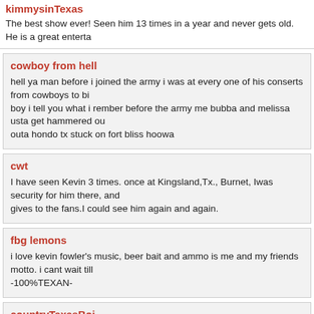kimmysinTexas
The best show ever! Seen him 13 times in a year and never gets old. He is a great enterta...
cowboy from hell
hell ya man before i joined the army i was at every one of his conserts from cowboys to bi... boy i tell you what i rember before the army me bubba and melissa usta get hammered ou... outa hondo tx stuck on fort bliss hoowa
cwt
I have seen Kevin 3 times. once at Kingsland,Tx., Burnet, Iwas security for him there, and... gives to the fans.I could see him again and again.
fbg lemons
i love kevin fowler's music, beer bait and ammo is me and my friends motto. i cant wait till... -100%TEXAN-
countryTexasBoi
Hell yea is all i can say about Fowler's Music its dammn awsome, i listen to his CD everyd... Austin Like you, so i know how it goes boi, You got me Tied to your music -doug- nick_282...
tyler guillory
you where awsome at crosby fair and rodeo i went all 3 nights that was my 10th time 2 see...